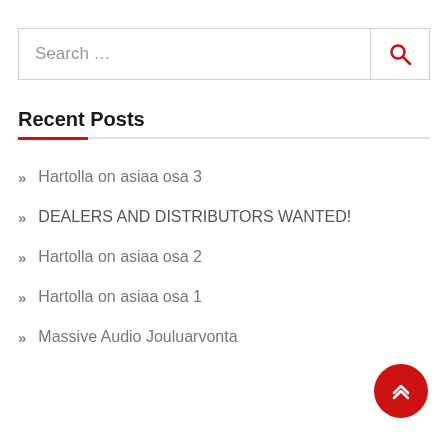[Figure (other): Search input box with red search icon button on right]
Recent Posts
Hartolla on asiaa osa 3
DEALERS AND DISTRIBUTORS WANTED!
Hartolla on asiaa osa 2
Hartolla on asiaa osa 1
Massive Audio Jouluarvonta